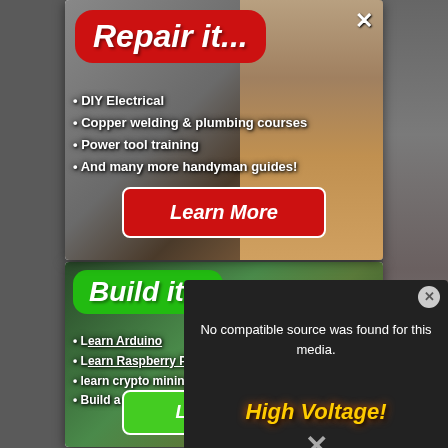[Figure (screenshot): Advertisement popup overlay for 'Repair it...' course with red badge title, bullet list of DIY courses, and Learn More button on a photo background of electrical work]
• DIY Electrical
• Copper welding & plumbing courses
• Power tool training
• And many more handyman guides!
[Figure (screenshot): Advertisement popup overlay for 'Build it...' course with green badge title, bullet list of tech courses, and Learn More button on a tech/Arduino photo background]
• Learn Arduino
• Learn Raspberry Pi
• learn crypto mining
• Build a drone from scratch!
[Figure (screenshot): Video player overlay showing 'No compatible source was found for this media.' message with High Voltage! text and dismiss X button]